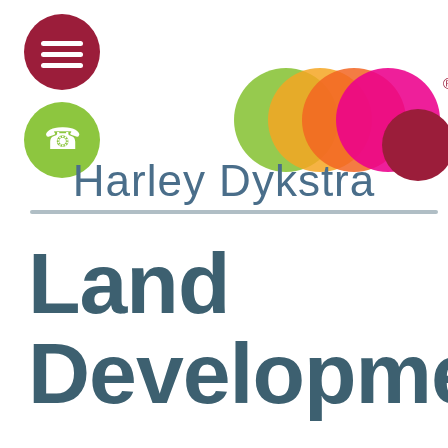[Figure (logo): Harley Dykstra logo with overlapping colored circles (green, yellow, orange, pink) and a separate dark red circle with registered trademark symbol, plus menu icon (dark red circle with three horizontal lines) and phone icon (green circle with phone symbol). Text reads 'Harley Dykstra' in steel blue. A horizontal gray divider line separates the header.]
Land Development